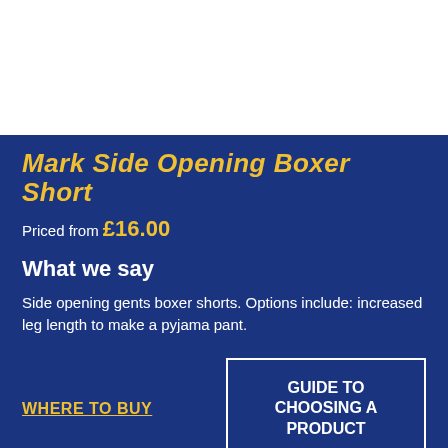Mark Side Opening Boxer Short
Priced from £16.00
What we say
Side opening gents boxer shorts. Options include: increased leg length to make a pyjama pant.
WHERE TO BUY
GUIDE TO CHOOSING A PRODUCT